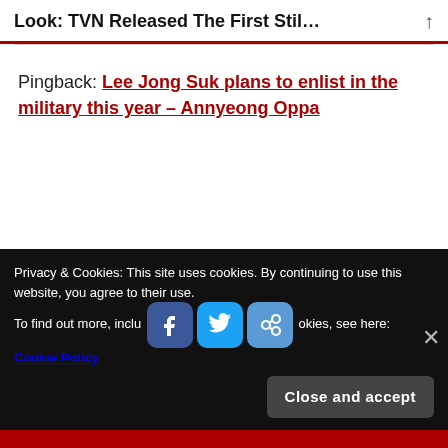Look: TVN Released The First Stil…
Pingback: Lee Jong Suk plans to enlist in the military this year – Annyeong Oppa
Privacy & Cookies: This site uses cookies. By continuing to use this website, you agree to their use.
To find out more, including how to control cookies, see here: Cookie Policy